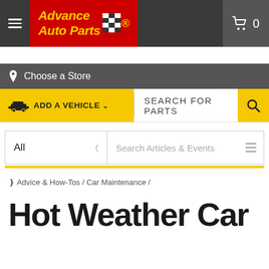Advance Auto Parts — navigation header with logo, hamburger menu, cart (0)
Choose a Store
ADD A VEHICLE ∨   SEARCH FOR PARTS
All   Search Articles & Events
⌂ Advice & How-Tos / Car Maintenance /
Hot Weather Car